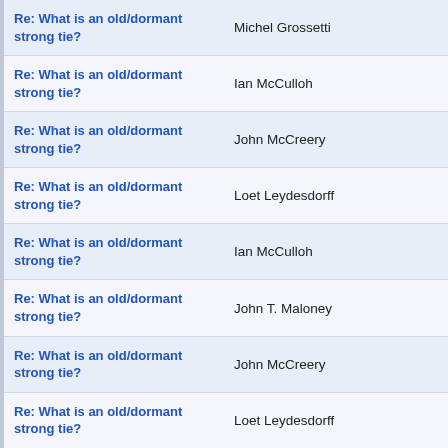| Subject | Author |
| --- | --- |
| Re: What is an old/dormant strong tie? | Michel Grossetti |
| Re: What is an old/dormant strong tie? | Ian McCulloh |
| Re: What is an old/dormant strong tie? | John McCreery |
| Re: What is an old/dormant strong tie? | Loet Leydesdorff |
| Re: What is an old/dormant strong tie? | Ian McCulloh |
| Re: What is an old/dormant strong tie? | John T. Maloney |
| Re: What is an old/dormant strong tie? | John McCreery |
| Re: What is an old/dormant strong tie? | Loet Leydesdorff |
| Re: What is an old/dormant strong tie? | Matthew Edward Brashears |